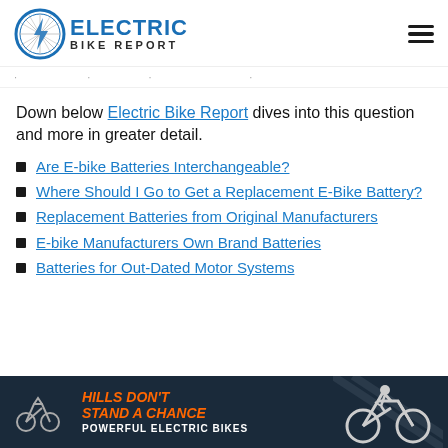Electric Bike Report
Down below Electric Bike Report dives into this question and more in greater detail.
Are E-bike Batteries Interchangeable?
Where Should I Go to Get a Replacement E-Bike Battery?
Replacement Batteries from Original Manufacturers
E-bike Manufacturers Own Brand Batteries
Batteries for Out-Dated Motor Systems
[Figure (infographic): Advertisement banner with dark navy background, orange italic text reading HILLS DON'T STAND A CHANCE, white text POWERFUL ELECTRIC BIKES, with cyclist/bike image on right]